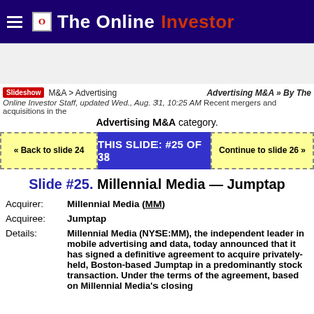The Online Investor
Slideshow  M&A > Advertising  Advertising M&A » By The Online Investor Staff, updated Wed., Aug. 31, 10:25 AM  Recent mergers and acquisitions in the Advertising M&A category.
« Back to slide 24   THIS SLIDE: #25 OF 38   Continue to slide 26 »
Slide #25. Millennial Media — Jumptap
Acquirer:  Millennial Media (MM)
Acquiree:  Jumptap
Details:  Millennial Media (NYSE:MM), the independent leader in mobile advertising and data, today announced that it has signed a definitive agreement to acquire privately-held, Boston-based Jumptap in a predominantly stock transaction. Under the terms of the agreement, based on Millennial Media's closing